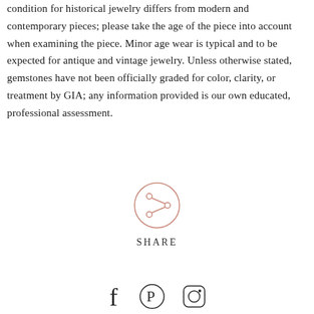condition for historical jewelry differs from modern and contemporary pieces; please take the age of the piece into account when examining the piece. Minor age wear is typical and to be expected for antique and vintage jewelry. Unless otherwise stated, gemstones have not been officially graded for color, clarity, or treatment by GIA; any information provided is our own educated, professional assessment.
[Figure (other): A circular share button icon with a share/network symbol inside, with the word SHARE below it in spaced capital letters]
[Figure (other): Social media icons: Facebook (f), Pinterest (P), and Instagram (camera) icons in a row at the bottom of the page]